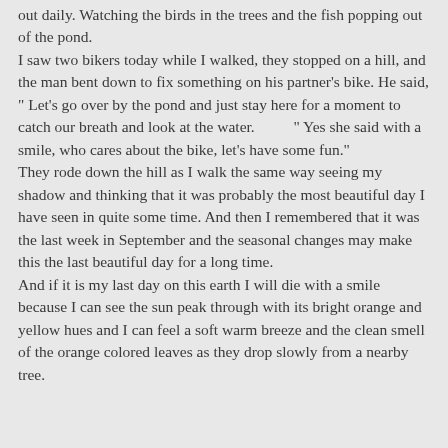out daily. Watching the birds in the trees and the fish popping out of the pond.
I saw two bikers today while I walked, they stopped on a hill, and the man bent down to fix something on his partner's bike. He said, " Let's go over by the pond and just stay here for a moment to catch our breath and look at the water.          " Yes she said with a smile, who cares about the bike, let's have some fun."
They rode down the hill as I walk the same way seeing my shadow and thinking that it was probably the most beautiful day I have seen in quite some time. And then I remembered that it was the last week in September and the seasonal changes may make this the last beautiful day for a long time.
And if it is my last day on this earth I will die with a smile because I can see the sun peak through with its bright orange and yellow hues and I can feel a soft warm breeze and the clean smell of the orange colored leaves as they drop slowly from a nearby tree.